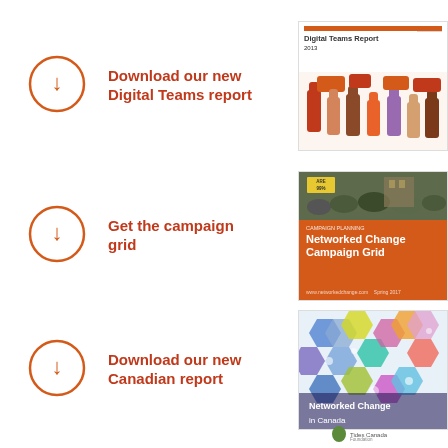Download our new Digital Teams report
[Figure (illustration): Digital Teams Report book cover with colorful raised hands illustration]
Get the campaign grid
[Figure (illustration): Networked Change Campaign Grid book cover with protest photo and orange background]
Download our new Canadian report
[Figure (illustration): Networked Change in Canada book cover with colorful hexagon pattern]